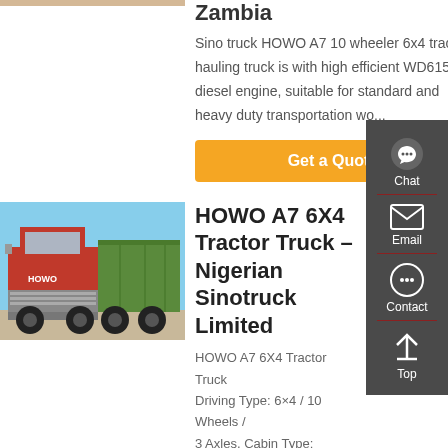[Figure (photo): Partial top image of a truck, mostly cropped]
Zambia
Sino truck HOWO A7 10 wheeler 6x4 tractor hauling truck is with high efficient WD615.47 diesel engine, suitable for standard and heavy duty transportation wo...
Get a Quote
[Figure (photo): Red HOWO A7 6X4 Tractor Truck parked outdoors]
HOWO A7 6X4 Tractor Truck – Nigerian Sinotruck Limited
HOWO A7 6X4 Tractor Truck
Driving Type: 6×4 / 10 Wheels / 3 Axles, Cabin Type: Single...